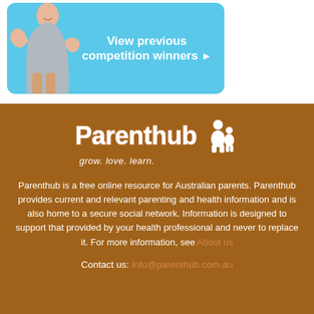[Figure (illustration): A light blue banner with a smiling woman and text 'View previous competition winners ▶']
[Figure (logo): Parenthub logo with stylized text 'Parenthub', adult and child silhouette icon, and tagline 'grow. love. learn.' on a brown background]
Parenthub is a free online resource for Australian parents. Parenthub provides current and relevant parenting and health information and is also home to a secure social network. Information is designed to support that provided by your health professional and never to replace it. For more information, see About us
Contact us: info@parenthub.com.au